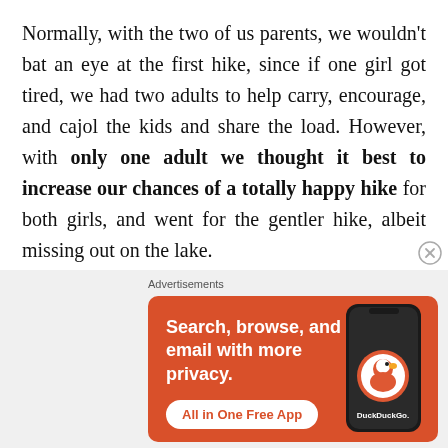Normally, with the two of us parents, we wouldn't bat an eye at the first hike, since if one girl got tired, we had two adults to help carry, encourage, and cajol the kids and share the load. However, with only one adult we thought it best to increase our chances of a totally happy hike for both girls, and went for the gentler hike, albeit missing out on the lake.
[Figure (screenshot): DuckDuckGo advertisement banner with orange background showing 'Search, browse, and email with more privacy. All in One Free App' with a phone mockup and DuckDuckGo logo]